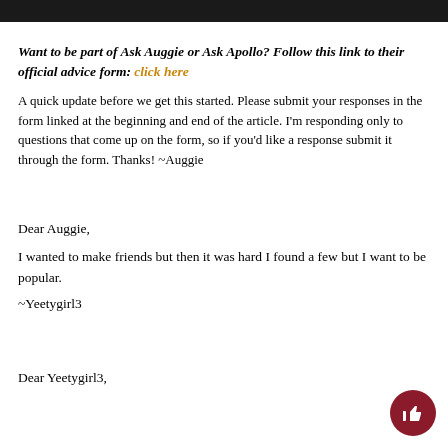Want to be part of Ask Auggie or Ask Apollo? Follow this link to their official advice form: click here
A quick update before we get this started. Please submit your responses in the form linked at the beginning and end of the article. I'm responding only to questions that come up on the form, so if you'd like a response submit it through the form. Thanks! ~Auggie
Dear Auggie,
I wanted to make friends but then it was hard I found a few but I want to be popular.
~Yeetygirl3
Dear Yeetygirl3,